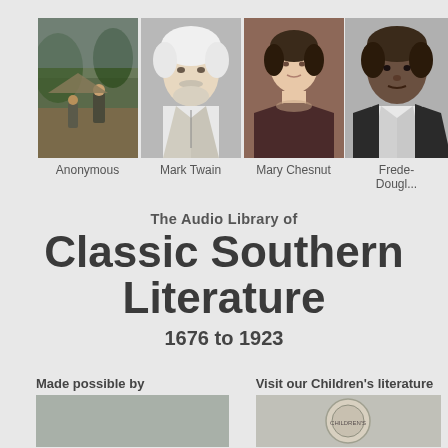[Figure (photo): Anonymous: historical illustration of Civil War era soldiers/battle scene]
Anonymous
[Figure (photo): Black and white portrait photograph of Mark Twain]
Mark Twain
[Figure (photo): Portrait painting of Mary Chesnut]
Mary Chesnut
[Figure (photo): Black and white portrait photograph of Frederick Douglass (partially cropped)]
Frederick Douglass
The Audio Library of Classic Southern Literature
1676 to 1923
Made possible by
Visit our Children's literature